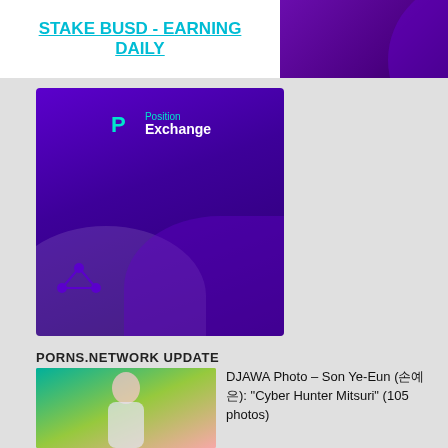[Figure (screenshot): Top banner with 'STAKE BUSD - EARNING DAILY' link on white background and purple gradient design on right]
[Figure (logo): Position Exchange logo/advertisement card with purple background and teal/white branding]
PORNS.NETWORK UPDATE
[Figure (photo): Photo of a cosplay model with pink hair against teal/pink gradient background]
DJAWA Photo – Son Ye-Eun (손예은): "Cyber Hunter Mitsuri" (105 photos)